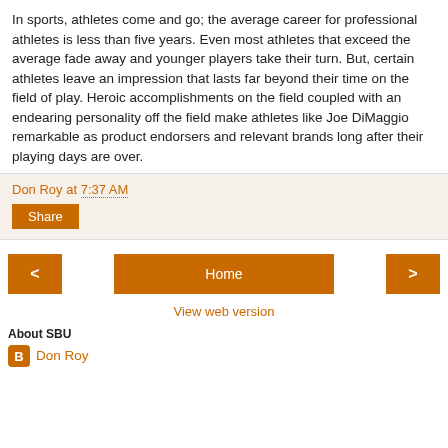In sports, athletes come and go; the average career for professional athletes is less than five years. Even most athletes that exceed the average fade away and younger players take their turn. But, certain athletes leave an impression that lasts far beyond their time on the field of play. Heroic accomplishments on the field coupled with an endearing personality off the field make athletes like Joe DiMaggio remarkable as product endorsers and relevant brands long after their playing days are over.
Don Roy at 7:37 AM
Share
Home
View web version
About SBU
Don Roy